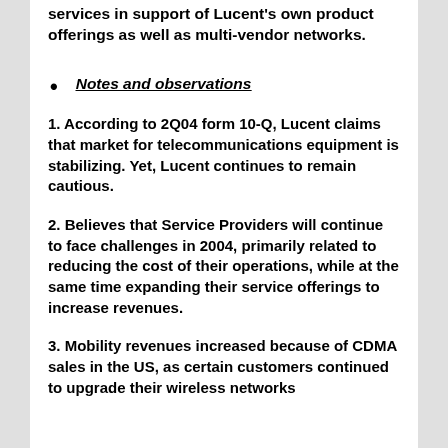services in support of Lucent's own product offerings as well as multi-vendor networks.
Notes and observations
1. According to 2Q04 form 10-Q, Lucent claims that market for telecommunications equipment is stabilizing. Yet, Lucent continues to remain cautious.
2. Believes that Service Providers will continue to face challenges in 2004, primarily related to reducing the cost of their operations, while at the same time expanding their service offerings to increase revenues.
3. Mobility revenues increased because of CDMA sales in the US, as certain customers continued to upgrade their wireless networks